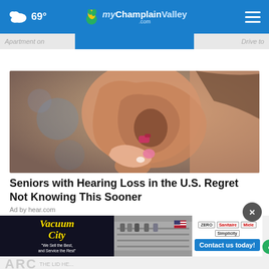69° myChamplainValley.com
[Figure (photo): Close-up photo of a hand with pink painted nails inserting a small hearing aid device into an ear]
Seniors with Hearing Loss in the U.S. Regret Not Knowing This Sooner
Ad by hear.com
[Figure (photo): Vacuum City store advertisement banner with logo, store photo, brand logos (Zero, Sanitaire, Miele, Simplicity), and Contact us today button]
ARC